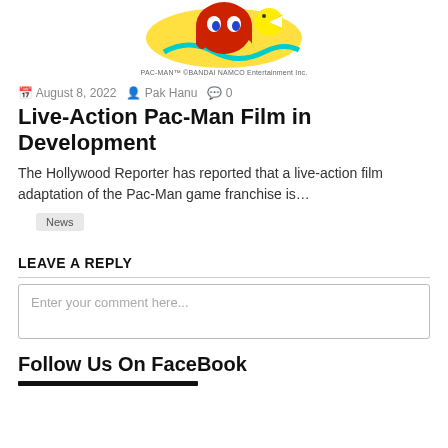[Figure (illustration): Pac-Man character logo — red ghost with Pac-Man on a yellow and teal wavy background]
PAC-MAN™ ©BANDAI NAMCO Entertainment Inc.
August 8, 2022  Pak Hanu  0
Live-Action Pac-Man Film in Development
The Hollywood Reporter has reported that a live-action film adaptation of the Pac-Man game franchise is…
News
LEAVE A REPLY
Enter your comment here...
Follow Us On FaceBook